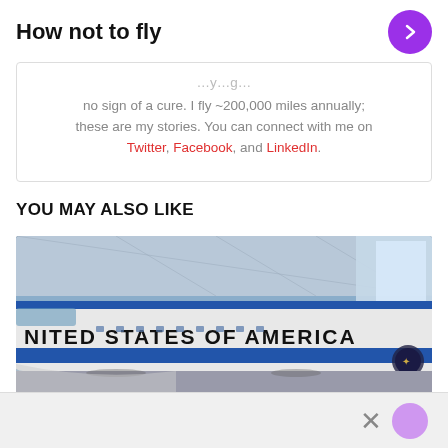How not to fly
no sign of a cure. I fly ~200,000 miles annually; these are my stories. You can connect with me on Twitter, Facebook, and LinkedIn.
YOU MAY ALSO LIKE
[Figure (photo): Photo of Air Force One or a presidential plane inside a hangar, showing the fuselage with 'UNITED STATES OF AMERICA' text in large letters. Blue stripe along the lower fuselage, hangar structure visible in background.]
[Figure (other): Bottom bar with close X button and partial purple circle, likely an advertisement or overlay.]